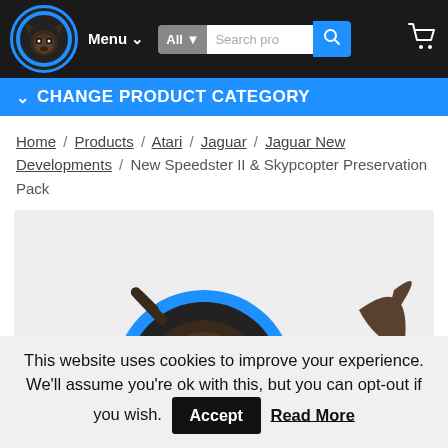Navigation bar with logo, Menu, All, Search products, cart
CHANGE PRODUCT CATEGORY
Home / Products / Atari / Jaguar / Jaguar New Developments / New Speedster II & Skypcopter Preservation Pack
[Figure (photo): Product image showing the site logo (goat/creature in blue circle) on a light grey background]
This website uses cookies to improve your experience. We'll assume you're ok with this, but you can opt-out if you wish. Accept Read More